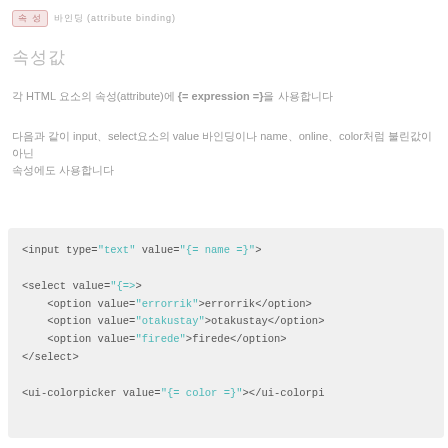속성 바인딩 (attribute binding)
속성값
각 HTML 요소의 속성(attribute)에 {= expression =}을 사용합니다
다음과 같이 input과 select요소의 value 바인딩이나 name、online、color처럼 불린값이 아닌 속성에도 사용합니다
[Figure (screenshot): Code block showing HTML template syntax with input type text value binding, select with option values errorrik, otakustay, firede, and ui-colorpicker value binding]